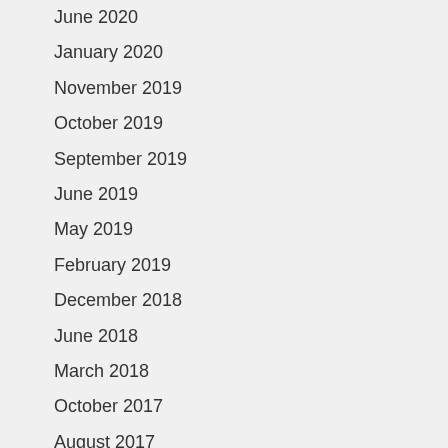June 2020
January 2020
November 2019
October 2019
September 2019
June 2019
May 2019
February 2019
December 2018
June 2018
March 2018
October 2017
August 2017